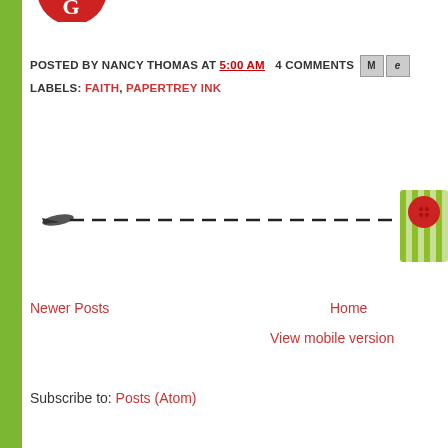[Figure (illustration): Partial red circular logo/button at top center, partially cropped]
POSTED BY NANCY THOMAS AT 5:00 AM   4 COMMENTS [M][e]
LABELS: FAITH, PAPERTREY INK
[Figure (illustration): Decorative divider: a dashed line with a needle/pin on the left end and a green striped ribbon with a red button/ornament on the right end]
Newer Posts
Home
View mobile version
Subscribe to: Posts (Atom)